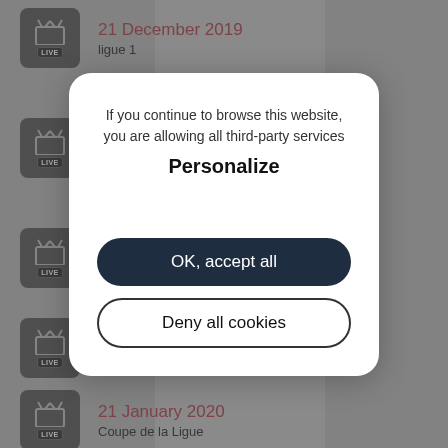[Figure (screenshot): Background list of TV broadcast entries with dates and league names, partially obscured by a cookie consent modal overlay]
21 December 2019
ligue 1
17 January 2020
If you continue to browse this website, you are allowing all third-party services
Personalize
OK, accept all
Deny all cookies
LIGUE 1
21 January 2020
Coupe de la Ligue